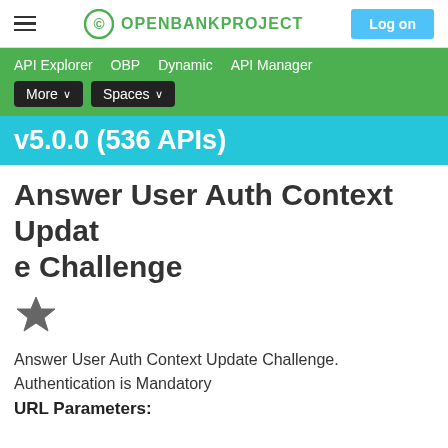OPENBANKPROJECT | Log on
API Explorer   OBP   Dynamic   API Manager   More ∨   Spaces ∨
v5.0.0 (536 APIs)
Answer User Auth Context Update Challenge
[Figure (other): Star / favourite icon]
Answer User Auth Context Update Challenge.
Authentication is Mandatory
URL Parameters: